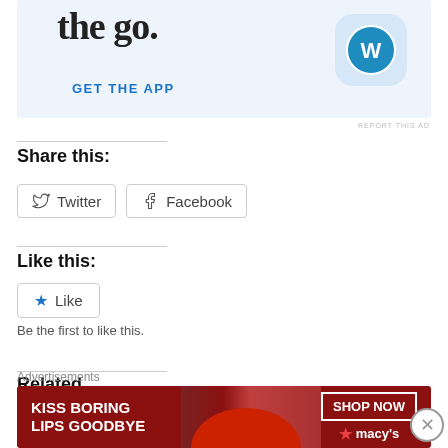[Figure (screenshot): WordPress app advertisement banner with 'the go.' text visible at top, 'GET THE APP' call-to-action, and WordPress logo icon on blue background]
REPORT THIS AD
Share this:
Twitter
Facebook
Like this:
Like
Be the first to like this.
Related
Advertisements
[Figure (screenshot): Macy's advertisement banner: 'KISS BORING LIPS GOODBYE' with woman's face showing red lips, SHOP NOW button, Macy's star logo]